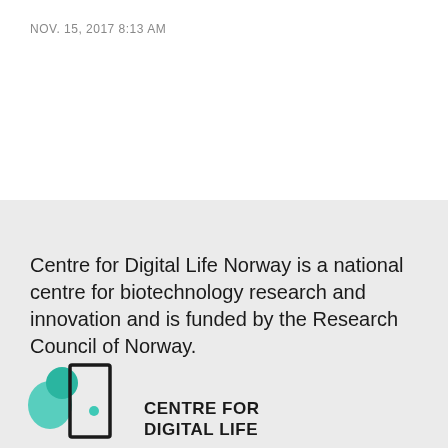NOV. 15, 2017 8:13 AM
Centre for Digital Life Norway is a national centre for biotechnology research and innovation and is funded by the Research Council of Norway.
[Figure (logo): Centre for Digital Life Norway logo — teal/green organic blob shapes beside a rectangle outline, with bold text 'CENTRE FOR DIGITAL LIFE' to the right.]